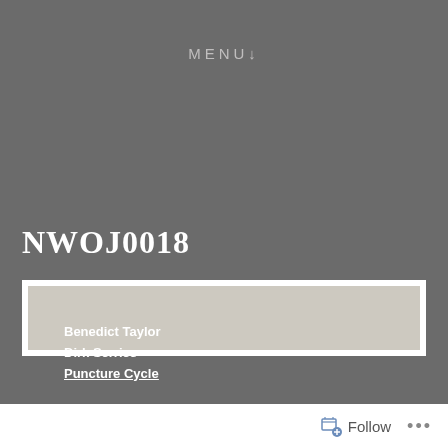MENU↓
NWOJ0018
[Figure (illustration): Album cover for Benedict Taylor / Dirk Serries - Puncture Cycle. Light beige/gray background with white bold text listing artist names and underlined album title.]
Follow ...